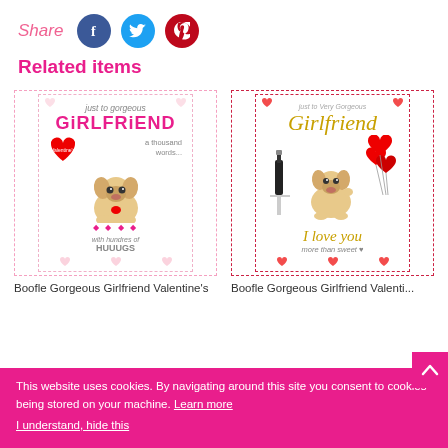Share
[Figure (screenshot): Social share buttons: Facebook (blue circle), Twitter (light blue circle), Pinterest (red circle)]
Related items
[Figure (photo): Boofle Gorgeous Girlfriend Valentine's Card - left card showing cartoon dog with heart and 'GIRLFRIEND' text]
Boofle Gorgeous Girlfriend Valentine's
[Figure (photo): Boofle Gorgeous Girlfriend Valentine's Card - right card showing cartoon dog with balloons and 'Girlfriend' script text and 'I love you more than sweet' text]
Boofle Gorgeous Girlfriend Valenti...
This website uses cookies. By navigating around this site you consent to cookies being stored on your machine. Learn more
I understand, hide this